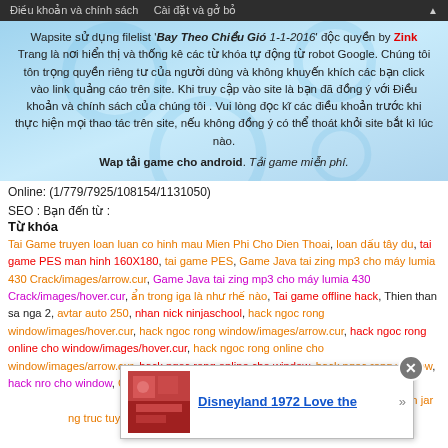Điều khoản và chính sách   Cài đặt và gở bỏ
[Figure (other): Light blue banner with circular watermark background. Contains Vietnamese text about website using filelist 'Bay Theo Chiều Gió 1-1-2016' by Zink, privacy policy notice, and 'Wap tải game cho android. Tải game miễn phí.']
Online: (1/779/7925/108154/1131050)
SEO : Bạn đến từ :
Từ khóa
Tai Game truyen loan luan co hinh mau Mien Phi Cho Dien Thoai, loan dấu tây du, tai game PES man hinh 160X180, tai game PES, Game Java tai zing mp3 cho máy lumia 430 Crack/images/arrow.cur, Game Java tai zing mp3 cho máy lumia 430 Crack/images/hover.cur, ẩn trong iga là như rhế nào, Tai game offline hack, Thien than sa nga 2, avtar auto 250, nhan nick ninjaschool, hack ngoc rong window/images/hover.cur, hack ngoc rong window/images/arrow.cur, hack ngoc rong online cho window/images/hover.cur, hack ngoc rong online cho window/images/arrow.cur, hack ngoc rong online cho window, hack ngoc rong window, hack nro cho window, Giao diên kinh di, Taj njnja school hak xayza, Hạch ninja...[n men], Tai ve gam...[pet hack ful tien jar...ng truc tuyen ve m...ver.cur], Tai giao dien nhan vat vn trang bi trong game dat kich, Ung dung facebook, tai
[Figure (other): Popup overlay with red/decorative thumbnail image on left and text 'Disneyland 1972 Love the' in blue underline, with navigation arrow and close button (X)]